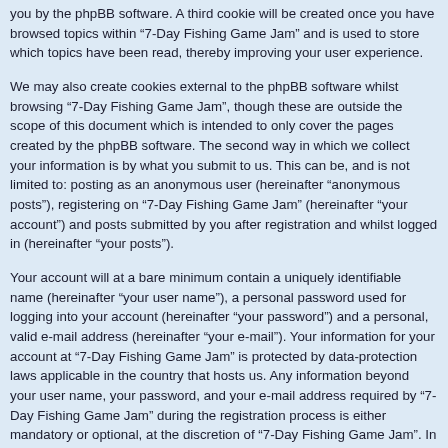you by the phpBB software. A third cookie will be created once you have browsed topics within “7-Day Fishing Game Jam” and is used to store which topics have been read, thereby improving your user experience.
We may also create cookies external to the phpBB software whilst browsing “7-Day Fishing Game Jam”, though these are outside the scope of this document which is intended to only cover the pages created by the phpBB software. The second way in which we collect your information is by what you submit to us. This can be, and is not limited to: posting as an anonymous user (hereinafter “anonymous posts”), registering on “7-Day Fishing Game Jam” (hereinafter “your account”) and posts submitted by you after registration and whilst logged in (hereinafter “your posts”).
Your account will at a bare minimum contain a uniquely identifiable name (hereinafter “your user name”), a personal password used for logging into your account (hereinafter “your password”) and a personal, valid e-mail address (hereinafter “your e-mail”). Your information for your account at “7-Day Fishing Game Jam” is protected by data-protection laws applicable in the country that hosts us. Any information beyond your user name, your password, and your e-mail address required by “7-Day Fishing Game Jam” during the registration process is either mandatory or optional, at the discretion of “7-Day Fishing Game Jam”. In all cases, you have the option of what information in your account is publicly displayed. Furthermore, within your account, you have the option to opt-in or opt-out of automatically generated e-mails from the phpBB software.
Your password is ciphered (a one-way hash) so that it is secure. However, it is recommended that you do not reuse the same password across a number of different websites. Your password is the means of accessing your account at “7-Day Fishing